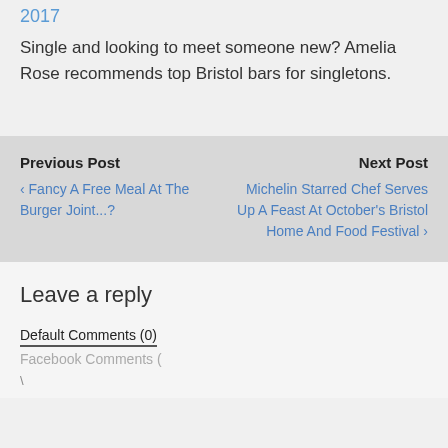2017
Single and looking to meet someone new? Amelia Rose recommends top Bristol bars for singletons.
Previous Post
‹ Fancy A Free Meal At The Burger Joint...?
Next Post
Michelin Starred Chef Serves Up A Feast At October's Bristol Home And Food Festival ›
Leave a reply
Default Comments (0)
Facebook Comments (